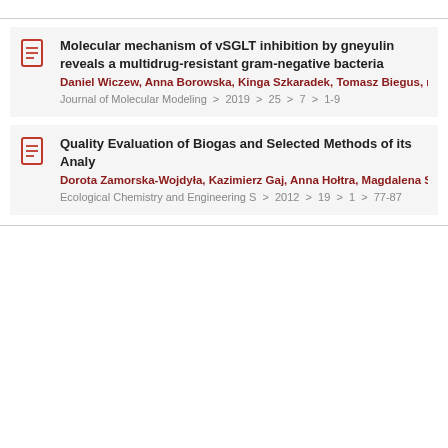Molecular mechanism of vSGLT inhibition by gneyulin reveals a multidrug-resistant gram-negative bacteria
Daniel Wiczew, Anna Borowska, Kinga Szkaradek, Tomasz Biegus, more
Journal of Molecular Modeling > 2019 > 25 > 7 > 1-9
Quality Evaluation of Biogas and Selected Methods of its Analy
Dorota Zamorska-Wojdyła, Kazimierz Gaj, Anna Hołtra, Magdalena Sitarska
Ecological Chemistry and Engineering S > 2012 > 19 > 1 > 77-87